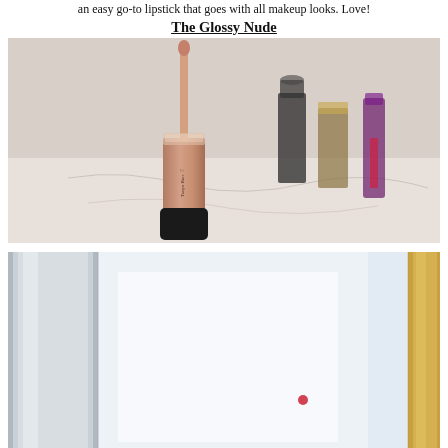an easy go-to lipstick that goes with all makeup looks. Love!
The Glossy Nude
[Figure (photo): A nude-pink lip gloss tube open with applicator wand extended, branded with 'Tanya Burr' script, placed on a white marble surface. Blurred lipsticks and cosmetics in the background.]
[Figure (photo): Partial close-up of beauty/makeup products on a light blue/white surface, with metallic silver and gold packaging visible.]